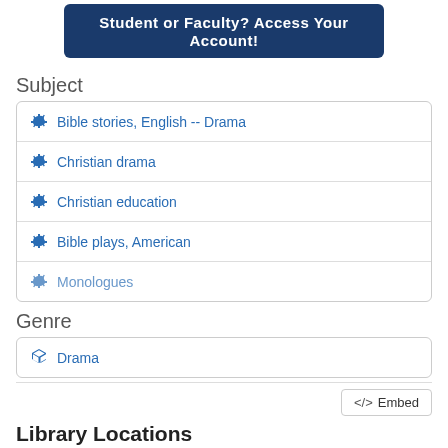[Figure (screenshot): Dark blue button/banner reading 'Student or Faculty? Access Your Account!']
Subject
Bible stories, English -- Drama
Christian drama
Christian education
Bible plays, American
Monologues
Genre
Drama
</>  Embed
Library Locations
[Figure (screenshot): Map/Details tab interface showing Map tab active and Details tab link]